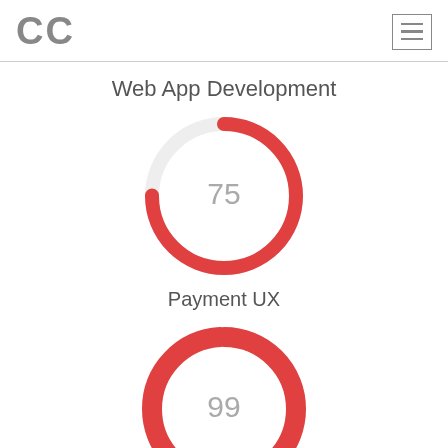CC
Web App Development
[Figure (donut-chart): Payment UX]
Payment UX
[Figure (donut-chart): ]